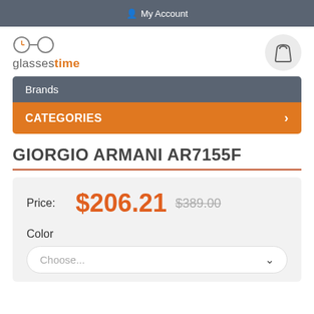My Account
[Figure (logo): Glassestime logo with clock and glasses icon]
Brands
CATEGORIES
GIORGIO ARMANI AR7155F
Price: $206.21  $389.00
Color
Choose...